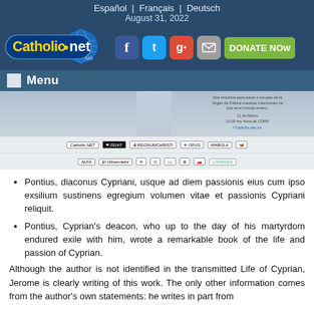Español  |  Français  |  Deutsch
August 31, 2022
[Figure (logo): Catholic.net logo with globe graphic, blue oval badge with yellow and white text, MR trademark]
[Figure (screenshot): Social media icons: Facebook (blue), Twitter (cyan), Google+ (red), email (grey), and green DONATE NOW button]
Menu
[Figure (photo): Banner image showing a religious figure (Virgin of Fatima) and Spanish text about peace, with Catholic.net.mx Facebook link. Partner logos row below including Catholic.NET, ZENIT, and others, plus El Observador and Lourdes logos.]
Pontius, diaconus Cypriani, usque ad diem passionis eius cum ipso exsilium sustinens egregium volumen vitae et passionis Cypriani reliquit.
Pontius, Cyprian's deacon, who up to the day of his martyrdom endured exile with him, wrote a remarkable book of the life and passion of Cyprian.
Although the author is not identified in the transmitted Life of Cyprian, Jerome is clearly writing of this work. The only other information comes from the author's own statements: he writes in part from